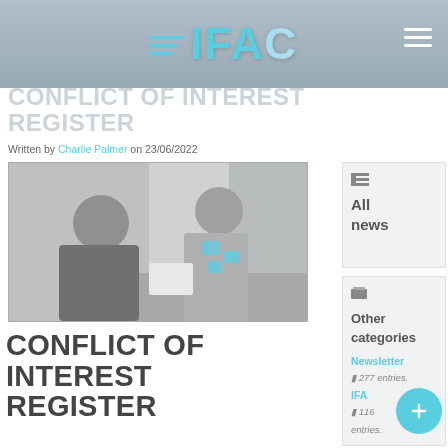IFAC
CONFLICT OF INTEREST REGISTER
Written by Charlie Palmer on 23/06/2022
[Figure (photo): Grayscale photo of two people in a business meeting, a woman facing the camera and a man with his back turned, documents on the table, with teal/cyan highlight shapes overlaid on the woman's torso area.]
CONFLICT OF INTEREST REGISTER
All news
Other categories
Newsletter 277 entries.
IFA 116 entries.